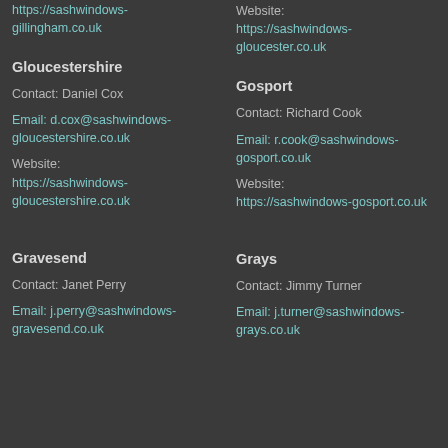https://sashwindows-gillingham.co.uk
Gloucestershire
Contact: Daniel Cox
Email: d.cox@sashwindows-gloucestershire.co.uk
Website: https://sashwindows-gloucestershire.co.uk
Gravesend
Contact: Janet Perry
Email: j.perry@sashwindows-gravesend.co.uk
Website: https://sashwindows-gloucester.co.uk
Gosport
Contact: Richard Cook
Email: r.cook@sashwindows-gosport.co.uk
Website: https://sashwindows-gosport.co.uk
Grays
Contact: Jimmy Turner
Email: j.turner@sashwindows-grays.co.uk